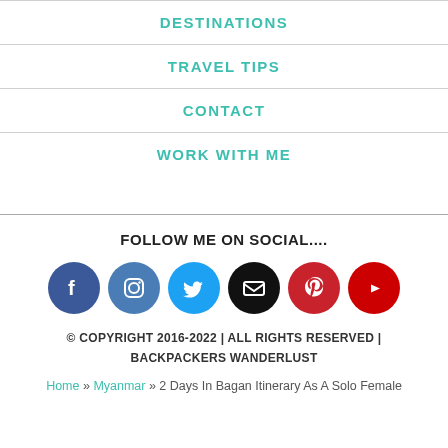DESTINATIONS
TRAVEL TIPS
CONTACT
WORK WITH ME
FOLLOW ME ON SOCIAL....
[Figure (infographic): Social media icons: Facebook (blue), Instagram (steel blue), Twitter (light blue), Email (black), Pinterest (red), YouTube (red)]
© COPYRIGHT 2016-2022 | ALL RIGHTS RESERVED | BACKPACKERS WANDERLUST
Home » Myanmar » 2 Days In Bagan Itinerary As A Solo Female